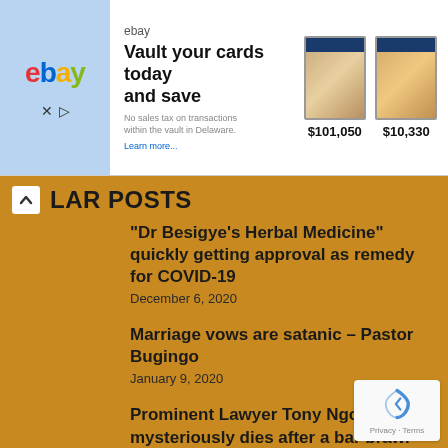[Figure (screenshot): eBay advertisement banner showing 'Vault your cards today and save' with two baseball card images priced at $101,050 and $10,330]
LAR POSTS
"Dr Besigye's Herbal Medicine" quickly getting approval as remedy for COVID-19
December 6, 2020
Marriage vows are satanic – Pastor Bugingo
January 9, 2020
Prominent Lawyer Tony Ngobi mysteriously dies after a bar brawl
October 17, 2021